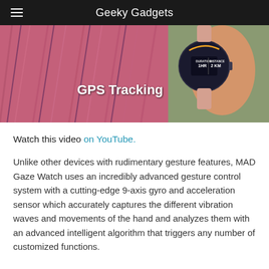Geeky Gadgets
[Figure (photo): Close-up photo of a smartwatch being worn on a wrist, showing GPS tracking display with DURATION 1HR and DISTANCE 2KM. The background shows pink/purple knitwear. Text overlay reads 'GPS Tracking' in bold white.]
Watch this video on YouTube.
Unlike other devices with rudimentary gesture features, MAD Gaze Watch uses an incredibly advanced gesture control system with a cutting-edge 9-axis gyro and acceleration sensor which accurately captures the different vibration waves and movements of the hand and analyzes them with an advanced intelligent algorithm that triggers any number of customized functions.